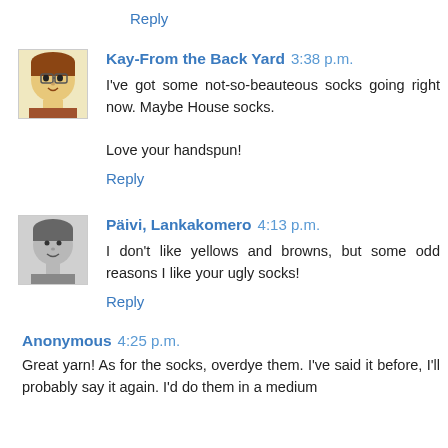Reply
Kay-From the Back Yard  3:38 p.m.
I've got some not-so-beauteous socks going right now. Maybe House socks.

Love your handspun!
Reply
Päivi, Lankakomero  4:13 p.m.
I don't like yellows and browns, but some odd reasons I like your ugly socks!
Reply
Anonymous  4:25 p.m.
Great yarn! As for the socks, overdye them. I've said it before, I'll probably say it again. I'd do them in a medium